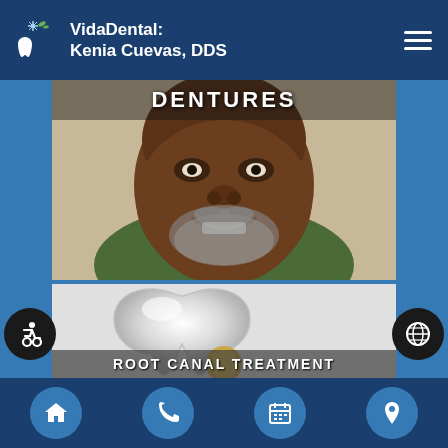VidaDental: Kenia Cuevas, DDS
[Figure (photo): Smiling older Black man with grey beard wearing green shirt, with 'DENTURES' text overlay at the top of the image]
[Figure (illustration): Dental tooth illustration in white/grey tones with 'ROOT CANAL TREATMENT' text partially visible at the bottom]
Navigation bar with home, phone, calendar, and location icons